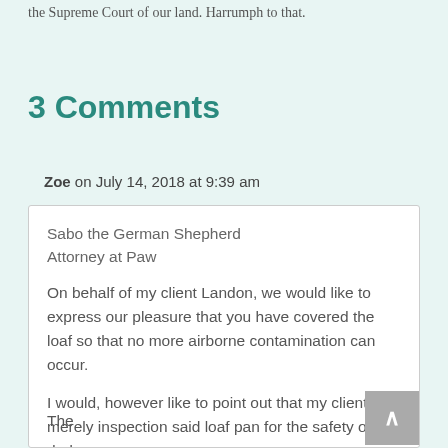the Supreme Court of our land. Harrumph to that.
3 Comments
Zoe on July 14, 2018 at 9:39 am
Sabo the German Shepherd
Attorney at Paw

On behalf of my client Landon, we would like to express our pleasure that you have covered the loaf so that no more airborne contamination can occur.

I would, however like to point out that my client was merely inspection said loaf pan for the safety of Hu-dad
The ...